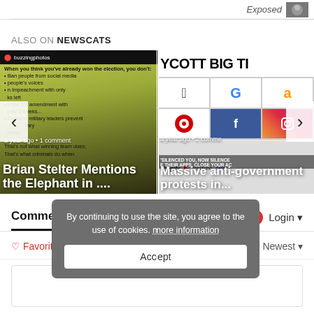Exposed
ALSO ON NEWSCATS
[Figure (screenshot): Carousel with two article preview cards. Left card: 'Brian Stelter Mentions the Elephant in ...' with meta 'a year ago • 1 comment'. Right card: 'Massive anti-government protests in...' with meta 'a year ago • 2 comments'. Navigation arrows on both sides.]
By continuing to use the site, you agree to the use of cookies. more information
Accept
Comments
Community
Login
♡ Favorite
Sort by Newest